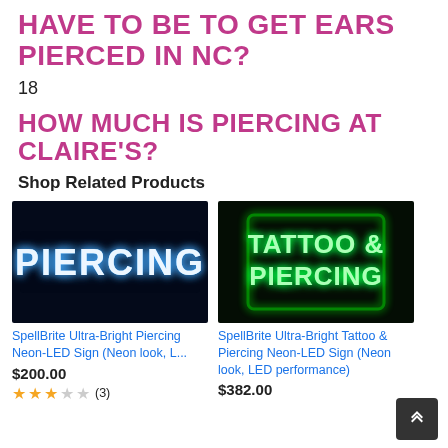HAVE TO BE TO GET EARS PIERCED IN NC?
18
HOW MUCH IS PIERCING AT CLAIRE'S?
Shop Related Products
[Figure (photo): Blue neon LED sign reading PIERCING against a dark background]
SpellBrite Ultra-Bright Piercing Neon-LED Sign (Neon look, L...
$200.00
2.5 stars (3)
[Figure (photo): Green neon LED sign reading TATTOO & PIERCING against a dark background]
SpellBrite Ultra-Bright Tattoo & Piercing Neon-LED Sign (Neon look, LED performance)
$382.00